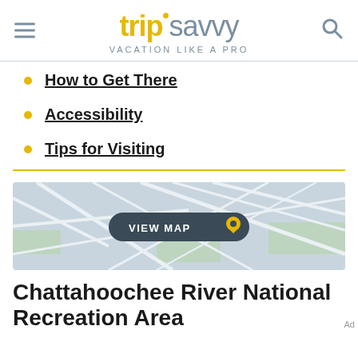tripsavvy VACATION LIKE A PRO
How to Get There
Accessibility
Tips for Visiting
[Figure (map): Street map background with VIEW MAP button and location pin icon]
Chattahoochee River National Recreation Area